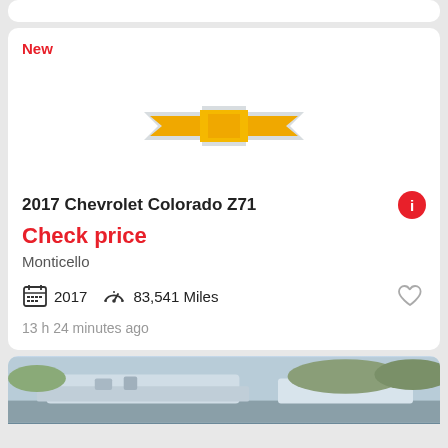New
[Figure (logo): Chevrolet bowtie logo in gold/yellow on light gray background]
2017 Chevrolet Colorado Z71
Check price
Monticello
2017   83,541 Miles
13 h 24 minutes ago
[Figure (photo): Partial view of a truck/SUV vehicle from the front side, outdoors]